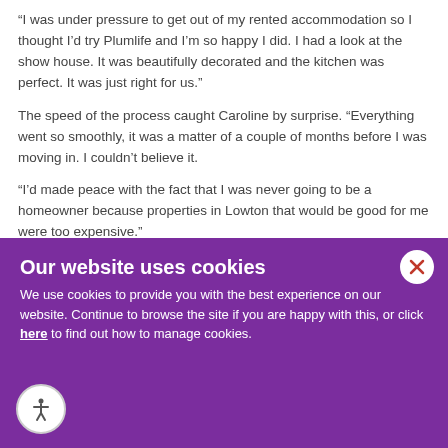“I was under pressure to get out of my rented accommodation so I thought I’d try Plumlife and I’m so happy I did. I had a look at the show house. It was beautifully decorated and the kitchen was perfect. It was just right for us.”
The speed of the process caught Caroline by surprise. “Everything went so smoothly, it was a matter of a couple of months before I was moving in. I couldn’t believe it.
“I’d made peace with the fact that I was never going to be a homeowner because properties in Lowton that would be good for me were too expensive.”
“Thanks to Shared Ownership, I’m now a home owner. And I still can’t believe it. It’s always strange when I pull up outside of my house and think that it’s mine!”
[Figure (other): Cookie consent overlay banner with purple background, close button (X in white circle), accessibility icon in bottom left circle, and overlapping faded background text about neighbourhood.]
Our website uses cookies
We use cookies to provide you with the best experience on our website. Continue to browse the site if you are happy with this, or click here to find out how to manage cookies.